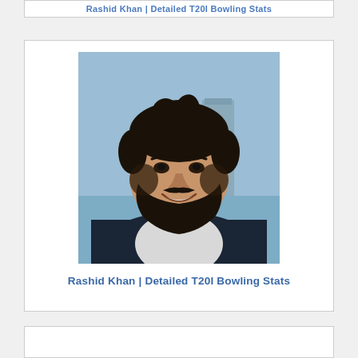Rashid Khan | Detailed T20I Bowling Stats
[Figure (photo): Portrait photo of Rashid Khan, a young man with dark hair and beard, wearing a black jacket over a white t-shirt, smiling, photographed outdoors with a blurred background of water and a structure.]
Rashid Khan | Detailed T20I Bowling Stats